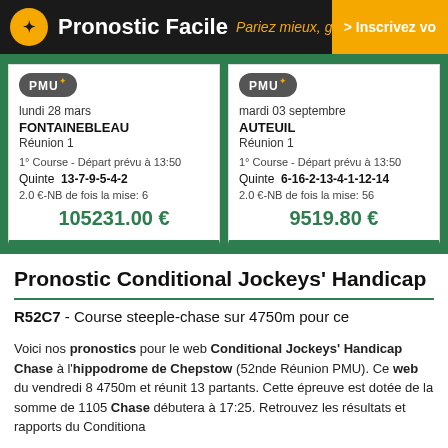Pronostic Facile Pariez mieux, gagnez plus > Inscrivez vo
| PMU | lundi 28 mars | FONTAINEBLEAU | Réunion 1 | 1° Course - Départ prévu à 13:50 | Quinte 13-7-9-5-4-2 | 2.0 €-NB de fois la mise: 6 | 105231.00 € |
| PMU | mardi 03 septembre | AUTEUIL | Réunion 1 | 1° Course - Départ prévu à 13:50 | Quinte 6-16-2-13-4-1-12-14 | 2.0 €-NB de fois la mise: 56 | 9519.80 € |
Pronostic Conditional Jockeys' Handicap
R52C7 - Course steeple-chase sur 4750m pour ce
Voici nos pronostics pour le web Conditional Jockeys' Handicap Chase à l'hippodrome de Chepstow (52nde Réunion PMU). Ce web du vendredi 8... 4750m et réunit 13 partants. Cette épreuve est dotée de la somme de 110... Chase débutera à 17:25. Retrouvez les résultats et rapports du Conditiona